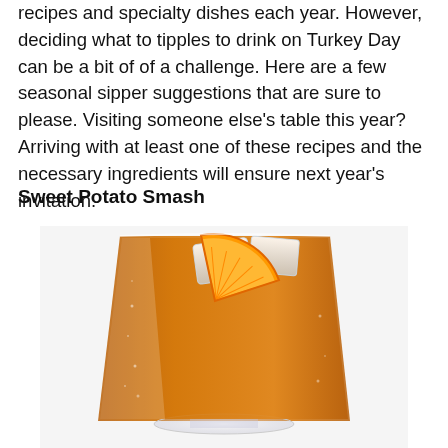recipes and specialty dishes each year. However, deciding what to tipples to drink on Turkey Day can be a bit of of a challenge. Here are a few seasonal sipper suggestions that are sure to please. Visiting someone else's table this year? Arriving with at least one of these recipes and the necessary ingredients will ensure next year's invitation.
Sweet Potato Smash
[Figure (photo): A rocks glass filled with amber/orange cocktail liquid, topped with ice cubes and garnished with an orange slice wedge on the rim. The glass has condensation on the outside.]